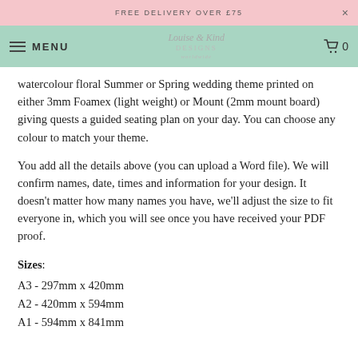FREE DELIVERY OVER £75
MENU | Logo | Cart 0
watercolour floral Summer or Spring wedding theme printed on either 3mm Foamex (light weight) or Mount (2mm mount board) giving quests a guided seating plan on your day. You can choose any colour to match your theme.
You add all the details above (you can upload a Word file). We will confirm names, date, times and information for your design. It doesn't matter how many names you have, we'll adjust the size to fit everyone in, which you will see once you have received your PDF proof.
Sizes:
A3 - 297mm x 420mm
A2 - 420mm x 594mm
A1 - 594mm x 841mm